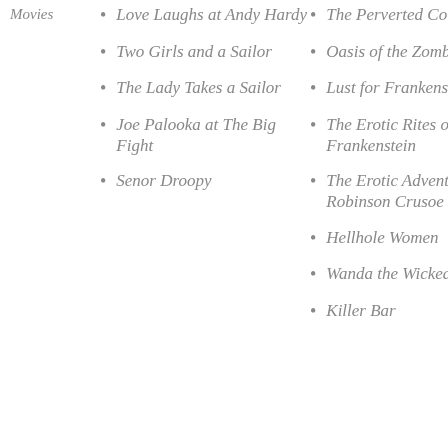Movies
Love Laughs at Andy Hardy
Two Girls and a Sailor
The Lady Takes a Sailor
Joe Palooka at The Big Fight
Senor Droopy
The Perverted Countess
Oasis of the Zombies
Lust for Frankenstein
The Erotic Rites of Frankenstein
The Erotic Adventures of Robinson Crusoe
Hellhole Women
Wanda the Wicked Warden
Killer Barbys